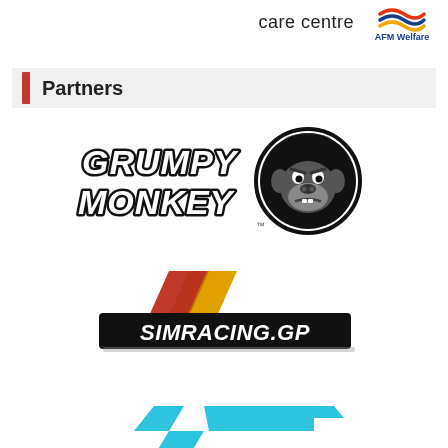care centre   AFM Welfare
Partners
[Figure (logo): Grumpy Monkey logo — stylized text 'GRUMPY MONKEY' with a cartoon gorilla face in a circle]
[Figure (logo): SIMRACING.GP logo — black banner with italic white text 'SIMRACING.GP' and red/yellow diagonal stripes above]
[Figure (logo): ION TECH logo — cyan/light blue geometric arrow/track shape above partial text 'ION TECH']